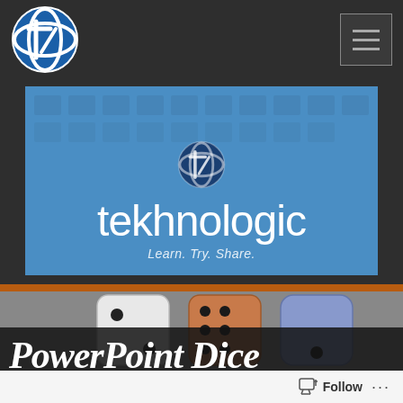[Figure (logo): Tekhnologic logo: blue circle with a stylized white T/L letter mark]
[Figure (other): Navigation hamburger menu button with three horizontal lines]
[Figure (illustration): Tekhnologic banner with blue background, grid pattern, logo icon, large white text 'tekhnologic' and italic tagline 'Learn. Try. Share.']
[Figure (screenshot): Preview thumbnail showing three dice (white/2, orange-brown/6, blue-purple) on a gray background with orange border, partially obscured by overlaid italic title text 'PowerPoint Dice']
PowerPoint Dice
Follow ...